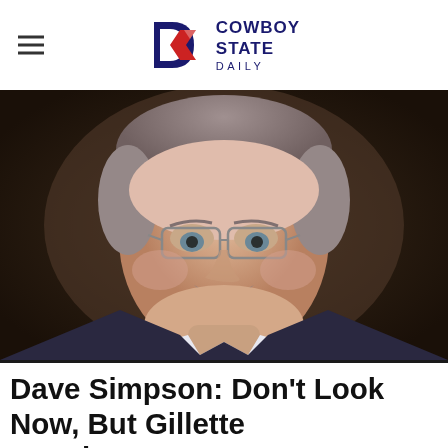Cowboy State Daily
[Figure (photo): Headshot of Dave Simpson, a middle-aged man with gray-brown hair and a mustache, wearing glasses and a dark suit with a light shirt, photographed against a blurred dark background.]
Dave Simpson: Don't Look Now, But Gillette Is Doing OK